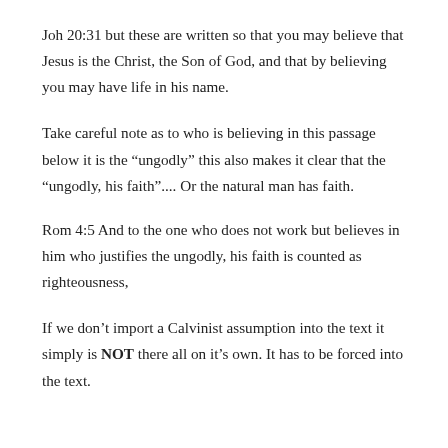Joh 20:31 but these are written so that you may believe that Jesus is the Christ, the Son of God, and that by believing you may have life in his name.
Take careful note as to who is believing in this passage below it is the “ungodly” this also makes it clear that the “ungodly, his faith”.... Or the natural man has faith.
Rom 4:5 And to the one who does not work but believes in him who justifies the ungodly, his faith is counted as righteousness,
If we don’t import a Calvinist assumption into the text it simply is NOT there all on it’s own. It has to be forced into the text.